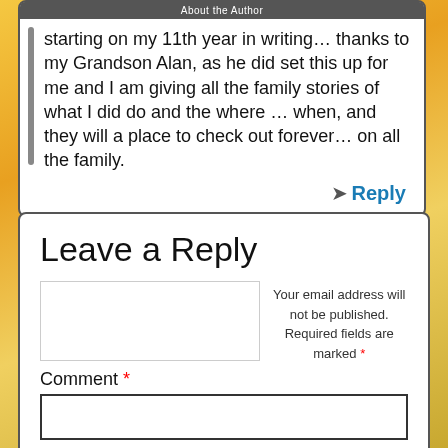About the Author
starting on my 11th year in writing… thanks to my Grandson Alan, as he did set this up for me and I am giving all the family stories of what I did do and the where … when, and they will a place to check out forever… on all the family.
↪ Reply
Leave a Reply
Your email address will not be published. Required fields are marked *
Comment *